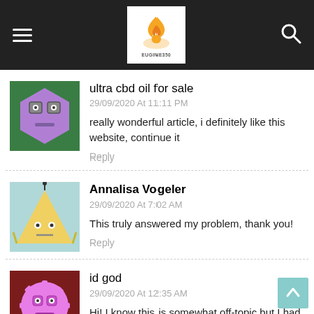EUGINE350 site header with hamburger menu, logo, and search icon
ultra cbd oil for sale
29/09/2020 At 11:11 PM
really wonderful article, i definitely like this website, continue it
Reply
Annalisa Vogeler
29/09/2020 At 7:02 AM
This truly answered my problem, thank you!
Reply
id god
29/09/2020 At 12:35 AM
Hi! I know this is somewhat off-topic but I had to ask